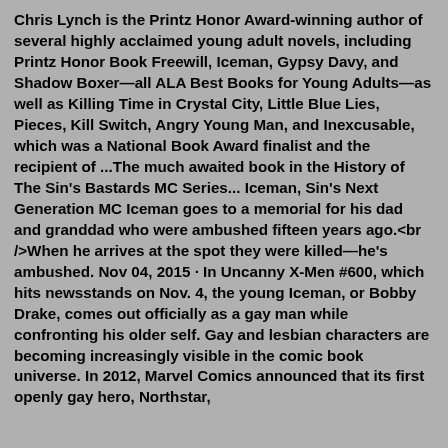Chris Lynch is the Printz Honor Award-winning author of several highly acclaimed young adult novels, including Printz Honor Book Freewill, Iceman, Gypsy Davy, and Shadow Boxer—all ALA Best Books for Young Adults—as well as Killing Time in Crystal City, Little Blue Lies, Pieces, Kill Switch, Angry Young Man, and Inexcusable, which was a National Book Award finalist and the recipient of ...The much awaited book in the History of The Sin's Bastards MC Series... Iceman, Sin's Next Generation MC Iceman goes to a memorial for his dad and granddad who were ambushed fifteen years ago.<br />When he arrives at the spot they were killed—he's ambushed. Nov 04, 2015 · In Uncanny X-Men #600, which hits newsstands on Nov. 4, the young Iceman, or Bobby Drake, comes out officially as a gay man while confronting his older self. Gay and lesbian characters are becoming increasingly visible in the comic book universe. In 2012, Marvel Comics announced that its first openly gay hero, Northstar, would be marrying Philip Cash in The Ivy Man...